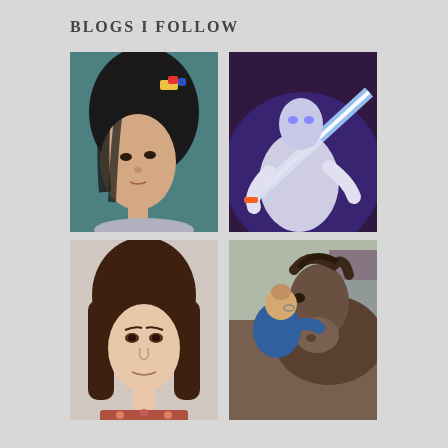BLOGS I FOLLOW
[Figure (photo): Portrait of a young woman with dark hair pulled back with a colorful hair clip, looking to the side against a teal background]
[Figure (photo): Person in white costume holding a glowing blue lightsaber in a dark room with blue/purple lighting]
[Figure (photo): Headshot of a young woman with brown hair, looking directly at camera against a light background]
[Figure (photo): Person with hair in a bun facing away, touching the nose of a horse/pony outdoors]